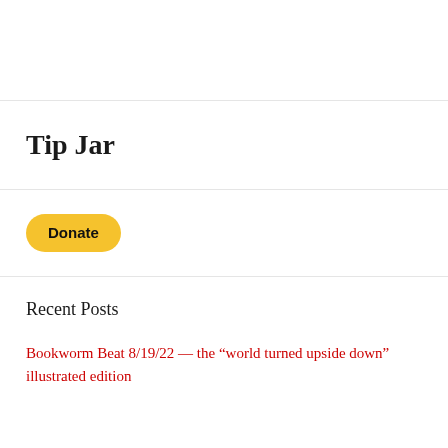Tip Jar
[Figure (other): PayPal Donate button — yellow rounded rectangle with bold text 'Donate']
Recent Posts
Bookworm Beat 8/19/22 — the “world turned upside down” illustrated edition